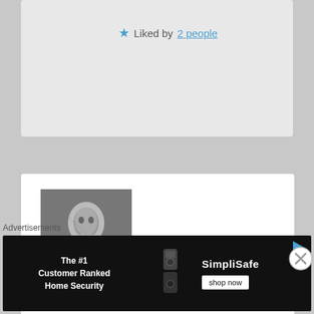Liked by 2 people
[Figure (photo): Black and white photo of a young woman (marypranzatelli avatar)]
marypranzatelli on July 17, 2015 at 4:27 am said:
Charles Manson is frightening. I can't believe someone just married him.
Liked by 1 person
Advertisements
[Figure (screenshot): SimpliSafe advertisement banner: The #1 Customer Ranked Home Security, shop now button]